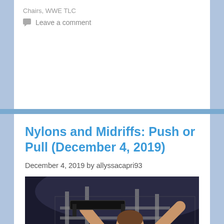Chairs, WWE TLC
Leave a comment
Nylons and Midriffs: Push or Pull (December 4, 2019)
December 4, 2019 by allyssacapri93
[Figure (photo): A wrestler holding a chair above their head inside a cage, NXT TakeOver WarGames event branding visible at bottom left]